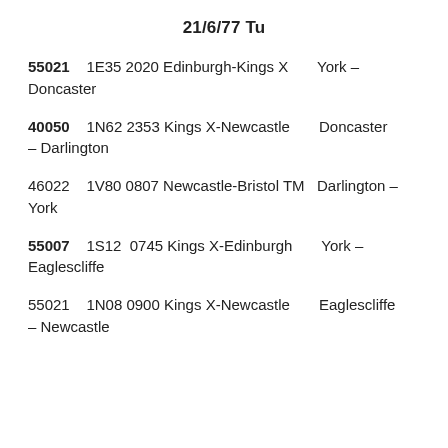21/6/77 Tu
55021    1E35 2020 Edinburgh-Kings X       York – Doncaster
40050    1N62 2353 Kings X-Newcastle       Doncaster – Darlington
46022    1V80 0807 Newcastle-Bristol TM    Darlington – York
55007    1S12  0745 Kings X-Edinburgh       York – Eaglescliffe
55021    1N08 0900 Kings X-Newcastle       Eaglescliffe – Newcastle